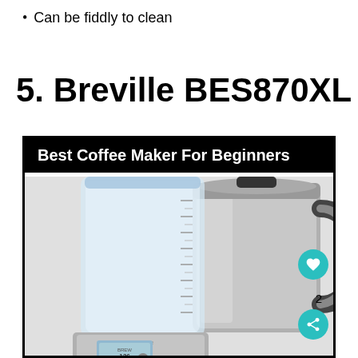Can be fiddly to clean
5. Breville BES870XL
[Figure (photo): Photo of Breville BES870XL coffee maker showing the machine with a glass water reservoir on the left and a stainless steel thermal carafe on the right, with a digital display showing '126' and the Breville brand name. A black banner overlay reads 'Best Coffee Maker For Beginners'. Social sharing icons (heart and share) appear on the right side.]